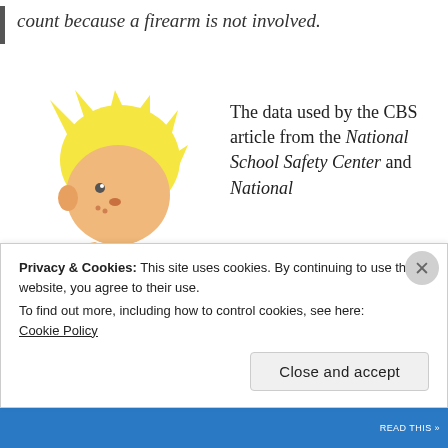count because a firearm is not involved.
[Figure (illustration): Cartoon illustration of a young blond boy sitting at a school desk, resting his chin on his hand in a thinking or worried pose.]
The data used by the CBS article from the National School Safety Center and National
Privacy & Cookies: This site uses cookies. By continuing to use this website, you agree to their use.
To find out more, including how to control cookies, see here:
Cookie Policy
Close and accept